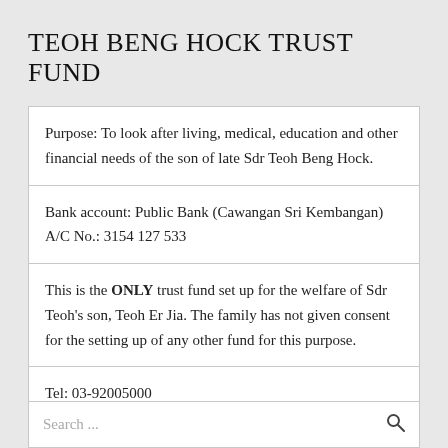TEOH BENG HOCK TRUST FUND
| Purpose: To look after living, medical, education and other financial needs of the son of late Sdr Teoh Beng Hock. |
| Bank account: Public Bank (Cawangan Sri Kembangan) A/C No.: 3154 127 533 |
| This is the ONLY trust fund set up for the welfare of Sdr Teoh's son, Teoh Er Jia. The family has not given consent for the setting up of any other fund for this purpose. |
| Tel: 03-92005000 |
Search ...